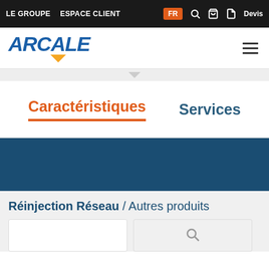LE GROUPE   ESPACE CLIENT   FR   Devis
[Figure (logo): ARCALE company logo with blue italic text and orange downward triangle]
Caractéristiques   Services
[Figure (photo): Dark blue photographic banner area]
Réinjection Réseau / Autres produits
[Figure (other): Product cards at the bottom, partially visible]